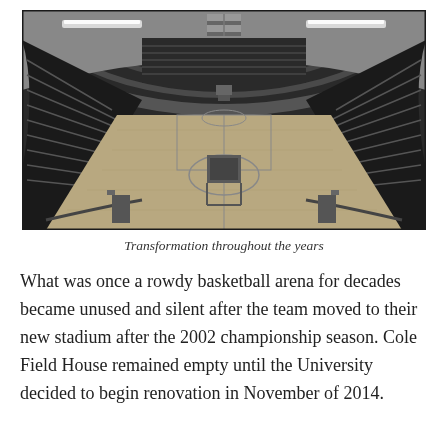[Figure (photo): Black and white photograph of an empty indoor basketball arena (Cole Field House) viewed from above the court floor. The arena has a large arched ceiling with fluorescent lights, rows of empty seats on both sides, a wooden basketball court, and a US flag hanging at the far end.]
Transformation throughout the years
What was once a rowdy basketball arena for decades became unused and silent after the team moved to their new stadium after the 2002 championship season. Cole Field House remained empty until the University decided to begin renovation in November of 2014.